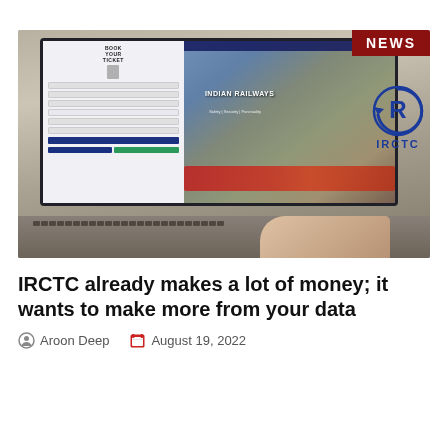[Figure (photo): Laptop displaying the IRCTC Indian Railways ticket booking website, with a NEWS badge and IRCTC logo overlaid in the top right corner. A hand is visible on the keyboard.]
IRCTC already makes a lot of money; it wants to make more from your data
Aroon Deep   August 19, 2022